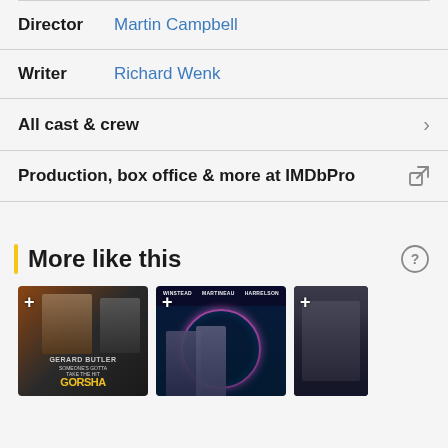Director  Martin Campbell
Writer  Richard Wenk
All cast & crew  >
Production, box office & more at IMDbPro  [external link icon]
More like this
[Figure (photo): Movie poster for Gorilla (Someone's Gotta Take the Hit) with Gerard Butler]
[Figure (photo): Movie poster featuring WINSTEAD, MARTINEAU, HARRELSON with neon circle design]
[Figure (photo): Partial movie poster showing a person in dark clothing]